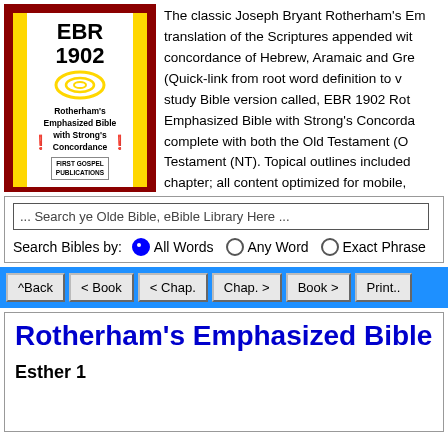[Figure (logo): EBR 1902 book cover logo — Rotherham's Emphasized Bible with Strong's Concordance, First Gospel Publications, dark red border with yellow stripes and spiral design]
The classic Joseph Bryant Rotherham's Emphasized Bible translation of the Scriptures appended with a concordance of Hebrew, Aramaic and Greek (Quick-link from root word definition to v... study Bible version called, EBR 1902 Rotherham's Emphasized Bible with Strong's Concordance complete with both the Old Testament (OT) and New Testament (NT). Topical outlines included for each chapter; all content optimized for mobile, ... devices. OVER 369,000 LINKS! The por...
... Search ye Olde Bible, eBible Library Here ...
Search Bibles by:  ● All Words  ○ Any Word  ○ Exact Phrase
^Back  < Book  < Chap.  Chap. >  Book >  Print..
Rotherham's Emphasized Bible
Esther 1